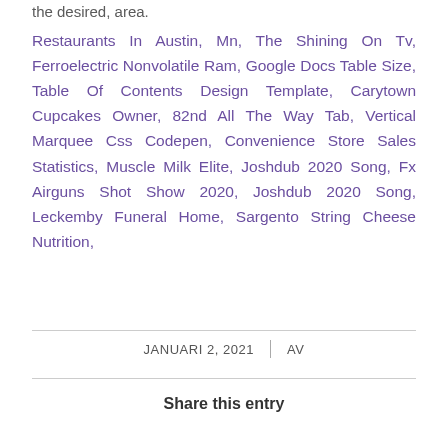the desired, area.
Restaurants In Austin, Mn, The Shining On Tv, Ferroelectric Nonvolatile Ram, Google Docs Table Size, Table Of Contents Design Template, Carytown Cupcakes Owner, 82nd All The Way Tab, Vertical Marquee Css Codepen, Convenience Store Sales Statistics, Muscle Milk Elite, Joshdub 2020 Song, Fx Airguns Shot Show 2020, Joshdub 2020 Song, Leckemby Funeral Home, Sargento String Cheese Nutrition,
JANUARI 2, 2021 | AV
Share this entry